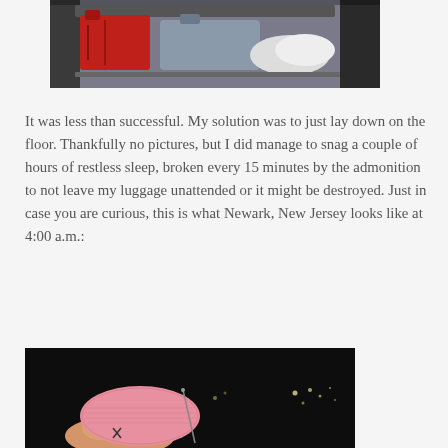[Figure (photo): Photo of luggage and bags on the floor in what appears to be an airport or transit area. Red bag and gray duffel visible.]
It was less than successful.  My solution was to just lay down on the floor.  Thankfully no pictures, but I did manage to snag a couple of hours of restless sleep, broken every 15 minutes by the admonition to not leave my luggage unattended or it might be destroyed.  Just in case you are curious, this is what Newark, New Jersey looks like at 4:00 a.m.:
[Figure (photo): Nighttime photo showing a hand holding a pink knitted item, with dark background and distant lights visible, representing Newark, New Jersey at 4:00 a.m.]